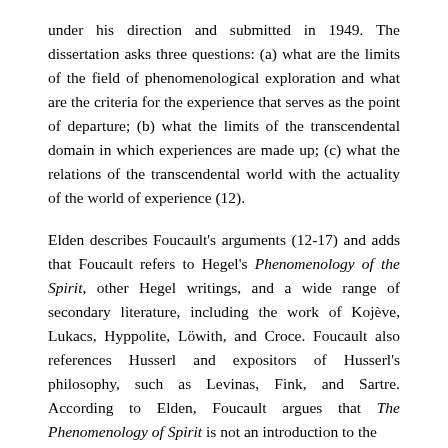under his direction and submitted in 1949. The dissertation asks three questions: (a) what are the limits of the field of phenomenological exploration and what are the criteria for the experience that serves as the point of departure; (b) what the limits of the transcendental domain in which experiences are made up; (c) what the relations of the transcendental world with the actuality of the world of experience (12).
Elden describes Foucault's arguments (12-17) and adds that Foucault refers to Hegel's Phenomenology of the Spirit, other Hegel writings, and a wide range of secondary literature, including the work of Kojève, Lukacs, Hyppolite, Löwith, and Croce. Foucault also references Husserl and expositors of Husserl's philosophy, such as Levinas, Fink, and Sartre. According to Elden, Foucault argues that The Phenomenology of Spirit is not an introduction to the